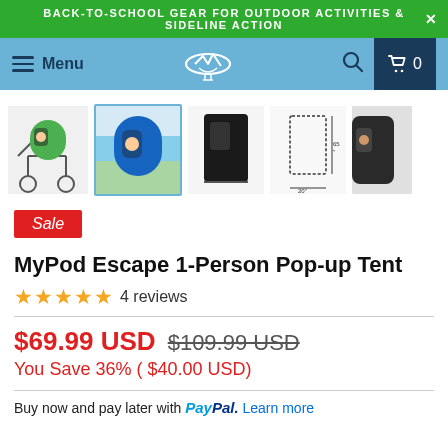BACK-TO-SCHOOL GEAR FOR OUTDOOR ACTIVITIES & SIDELINE ACTION
Menu  [cart] 0
[Figure (photo): Five product thumbnail images of the MyPod Escape 1-Person Pop-up Tent in various colors and configurations]
Sale
MyPod Escape 1-Person Pop-up Tent
★★★★★ 4 reviews
$69.99 USD  $109.99 USD  You Save 36% ( $40.00 USD)
Buy now and pay later with PayPal. Learn more